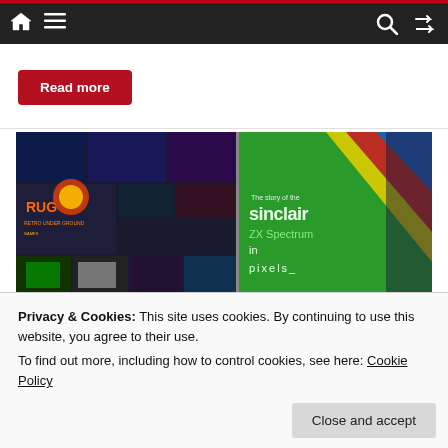Navigation bar with home, menu, search, and shuffle icons
Read more
[Figure (photo): Composite image showing retro video game screenshots on the left (RUG - Retro Under Ground Games logo and various game screenshots) and on the right a green book cover 'The story of the Sinclair ZX Spectrum in pixels_' with diagonal color stripes (blue, red, yellow) and more game screenshots on the far right.]
Privacy & Cookies: This site uses cookies. By continuing to use this website, you agree to their use.
To find out more, including how to control cookies, see here: Cookie Policy
Close and accept
The Story of the Sinclair ZX Spectrum in Pixels – The...